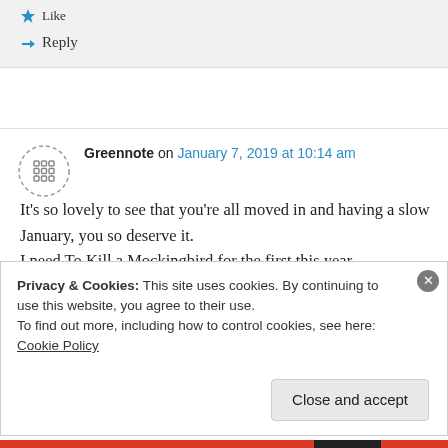★ Like
↪ Reply
Greennote on January 7, 2019 at 10:14 am
It's so lovely to see that you're all moved in and having a slow January, you so deserve it.
Privacy & Cookies: This site uses cookies. By continuing to use this website, you agree to their use. To find out more, including how to control cookies, see here: Cookie Policy
Close and accept